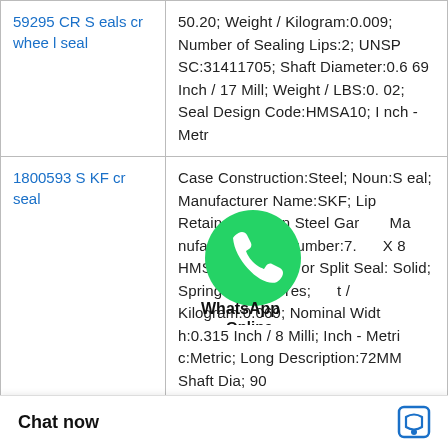| 59295 CR Seals cr wheel seal | 50.20; Weight / Kilogram:0.009; Number of Sealing Lips:2; UNSPSC:31411705; Shaft Diameter:0.669 Inch / 17 Mill; Weight / LBS:0.02; Seal Design Code:HMSA10; Inch - Metr |
| 1800593 SKF cr seal | Case Construction:Steel; Noun:Seal; Manufacturer Name:SKF; Lip Retainer:Carbon Steel Gar; Manufacturer Item Number:7. X 8 HMSA27 R; Solid or Split Seal:Solid; Spring Loaded:Yes; Weight / Kilogram:0.069; Nominal Width:0.315 Inch / 8 Milli; Inch - Metric:Metric; Long Description:72MM Shaft Dia; 90 |
|  | Nominal Width:0.875 Inch / 22.225; Generic Design Code:C_R_H; tures:Large / With t / LBS:11.987; Sha |
[Figure (other): WhatsApp Online overlay icon with green circular logo and bold text labels 'WhatsApp' and 'Online']
[Figure (other): Close button (X) and three-dot menu icon overlay on left side of page]
Chat now